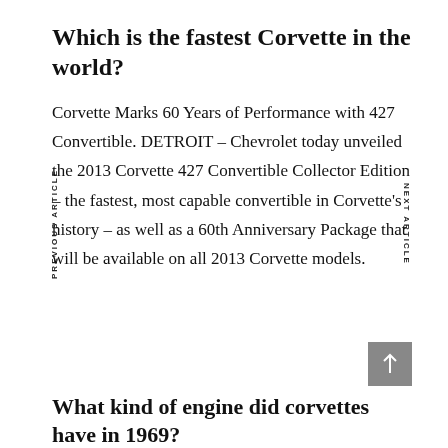Which is the fastest Corvette in the world?
Corvette Marks 60 Years of Performance with 427 Convertible. DETROIT – Chevrolet today unveiled the 2013 Corvette 427 Convertible Collector Edition – the fastest, most capable convertible in Corvette's history – as well as a 60th Anniversary Package that will be available on all 2013 Corvette models.
What kind of engine did corvettes have in 1969?